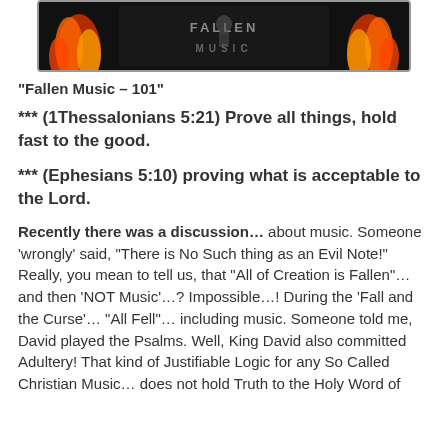[Figure (illustration): Dark graphic banner with flames in reds, oranges and yellows with a stylized text logo in the center on a dark background]
“Fallen Music – 101”
*** (1Thessalonians 5:21) Prove all things, hold fast to the good.
*** (Ephesians 5:10) proving what is acceptable to the Lord.
Recently there was a discussion… about music. Someone ‘wrongly’ said, “There is No Such thing as an Evil Note!” Really, you mean to tell us, that “All of Creation is Fallen”… and then ‘NOT Music’…? Impossible…! During the ‘Fall and the Curse’… “All Fell”… including music. Someone told me, David played the Psalms. Well, King David also committed Adultery! That kind of Justifiable Logic for any So Called Christian Music… does not hold Truth to the Holy Word of